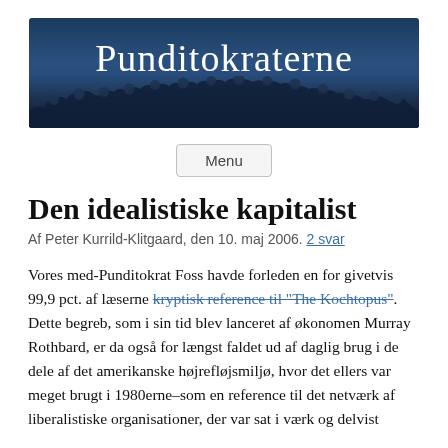[Figure (illustration): Dark blue banner/header image with the text 'Punditokraterne' in white serif font, with a silhouette of a group of people at the bottom]
Den idealistiske kapitalist
Af Peter Kurrild-Klitgaard, den 10. maj 2006. 2 svar
Vores med-Punditokrat Foss havde forleden en for givetvis 99,9 pct. af læserne kryptisk reference til "The Kochtopus". Dette begreb, som i sin tid blev lanceret af økonomen Murray Rothbard, er da også for længst faldet ud af daglig brug i de dele af det amerikanske højrefløjsmiljø, hvor det ellers var meget brugt i 1980erne–som en reference til det netværk af liberalistiske organisationer, der var sat i værk og delvist